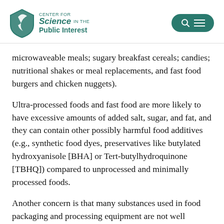CENTER FOR Science IN THE Public Interest
microwaveable meals; sugary breakfast cereals; candies; nutritional shakes or meal replacements, and fast food burgers and chicken nuggets).
Ultra-processed foods and fast food are more likely to have excessive amounts of added salt, sugar, and fat, and they can contain other possibly harmful food additives (e.g., synthetic food dyes, preservatives like butylated hydroxyanisole [BHA] or Tert-butylhydroquinone [TBHQ]) compared to unprocessed and minimally processed foods.
Another concern is that many substances used in food packaging and processing equipment are not well